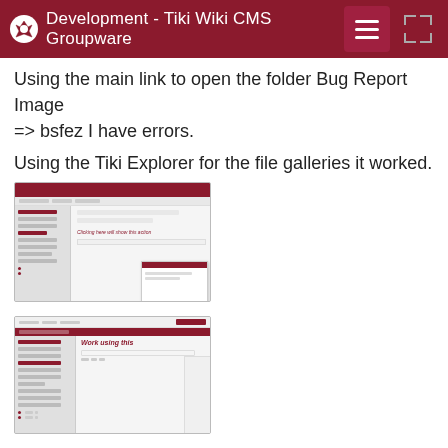Development - Tiki Wiki CMS Groupware
Using the main link to open the folder Bug Report Image => bsfez I have errors.
Using the Tiki Explorer for the file galleries it worked.
[Figure (screenshot): Screenshot of a Tiki Wiki CMS page showing an error state with a dialog overlay]
[Figure (screenshot): Screenshot of a Tiki Wiki CMS file gallery page with 'Work using this' text visible in red]
Not the same issue but may be related, I couldn't set a plugin img after uploading and setting the plugin following the process using the dialog modal from the Help plugin. I also tested on Safari and Chrome.